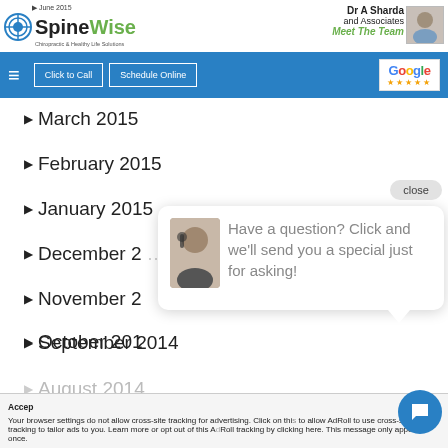[Figure (logo): SpineWise logo with green icon and text]
Dr A Sharda and Associates
Meet The Team
[Figure (photo): Doctor headshot photo]
[Figure (screenshot): Navigation bar with hamburger menu, Click to Call, Schedule Online, Google reviews buttons]
March 2015
February 2015
January 2015
December 2014
November 2014
October 2014
September 2014
August 2014
Have a question? Click and we'll send you a special just for asking!
Your browser settings do not allow cross-site tracking for advertising. Click on this to allow AdRoll to use cross-site tracking to tailor ads to you. Learn more or opt out of this AdRoll tracking by clicking here. This message only appears once.